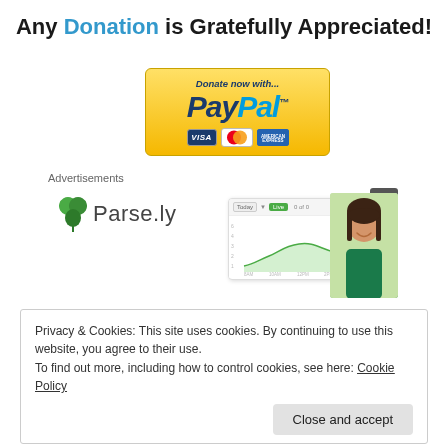Any Donation is Gratefully Appreciated!
[Figure (logo): PayPal donation button with Visa, Mastercard, and American Express card logos on a gold/yellow gradient background]
Advertisements
[Figure (screenshot): Parse.ly advertisement showing the Parse.ly logo (green leaf icon and Parse.ly text) alongside a dashboard screenshot with a line chart and a woman smiling]
Privacy & Cookies: This site uses cookies. By continuing to use this website, you agree to their use.
To find out more, including how to control cookies, see here: Cookie Policy
Close and accept